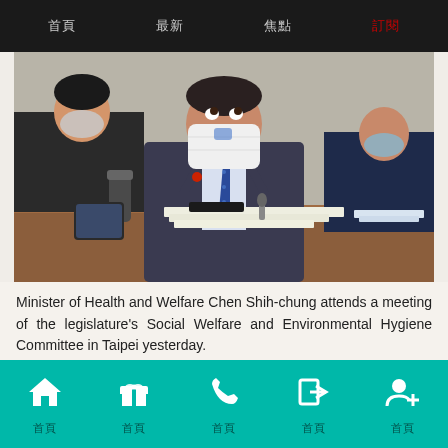首頁  最新  焦點  訂閱
[Figure (photo): Minister of Health and Welfare Chen Shih-chung wearing a mask, seated at a conference table with two other people, at a legislative meeting.]
Minister of Health and Welfare Chen Shih-chung attends a meeting of the legislature's Social Welfare and Environmental Hygiene Committee in Taipei yesterday.
Photo: CNA
首頁  首頁  首頁  首頁  首頁